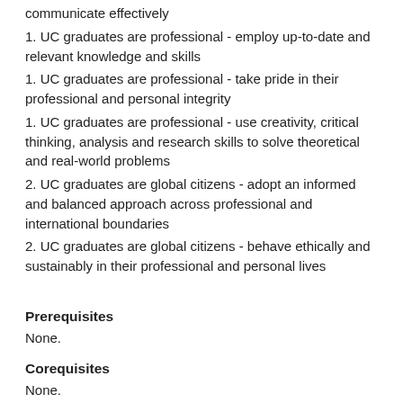communicate effectively
1. UC graduates are professional - employ up-to-date and relevant knowledge and skills
1. UC graduates are professional - take pride in their professional and personal integrity
1. UC graduates are professional - use creativity, critical thinking, analysis and research skills to solve theoretical and real-world problems
2. UC graduates are global citizens - adopt an informed and balanced approach across professional and international boundaries
2. UC graduates are global citizens - behave ethically and sustainably in their professional and personal lives
Prerequisites
None.
Corequisites
None.